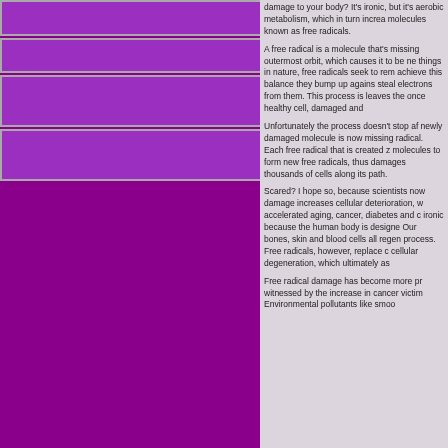Exercise
Glutathione's Role in Autism
Inflammation in the Brain of Autistics
Low Glutathione and Miscarriages
NEWSLETTERS, ARTICLES & BOOKS
NEUROTOXINS
NUTRITION FOR BRAIN
PRODUCT CATALOG
RECIPES: GLUTEN & DAIRY FREE
TESTIMONIALS
CONTACT US
INTERNSHIP
damage to your body? It's ironic, but it's aerobic metabolism, which in turn increases molecules known as free radicals.
A free radical is a molecule that's missing outermost orbit, which causes it to be negative. Like all things in nature, free radicals seek to remedy achieve this balance they bump up against steal electrons from them. This process is leaves the once healthy cell, damaged and
Unfortunately the process doesn't stop after newly damaged molecule is now missing radical. Each free radical that is created z molecules to form new free radicals, thus damages thousands of cells along its path.
Scared? I hope so, because scientists now damage increases cellular deterioration, which accelerated aging, cancer, diabetes and c ironic because the human body is designed Our bones, skin and blood cells all regen process. Free radicals, however, replace c cellular degeneration, which ultimately as
Free radical damage has become more pr witnessed by the increase in cancer victim Environmental pollutants like smoo